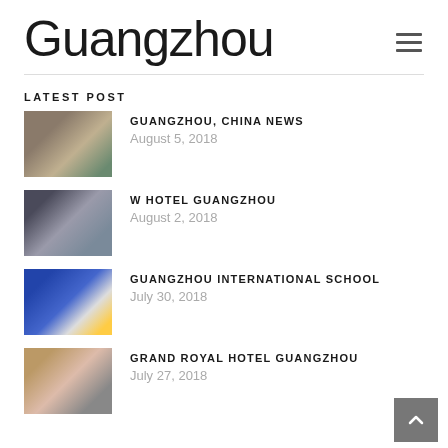Guangzhou
LATEST POST
GUANGZHOU, CHINA NEWS
August 5, 2018
W HOTEL GUANGZHOU
August 2, 2018
GUANGZHOU INTERNATIONAL SCHOOL
July 30, 2018
GRAND ROYAL HOTEL GUANGZHOU
July 27, 2018